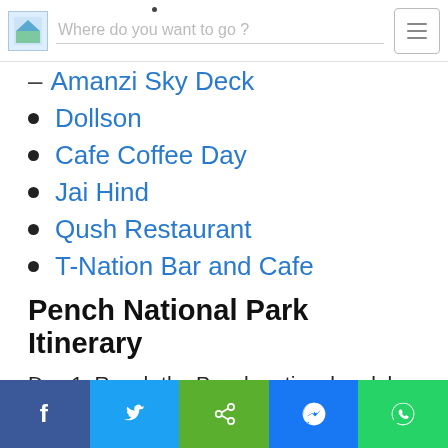Where do you want to go?
Amanzi Sky Deck
Dollson
Cafe Coffee Day
Jai Hind
Qush Restaurant
T-Nation Bar and Cafe
Pench National Park Itinerary
Day 1: Reach the Pench national park by taxi from the Seoni Railway Station. Check into your pre-booked resort and fresh up. Grab a hearty breakfast, pack your lunch and set out to explore the nearby river and the bird sanctuary. Later, you